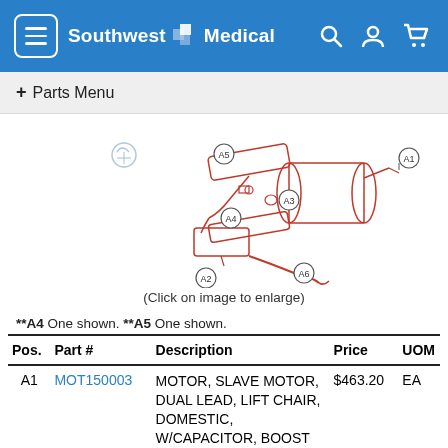Southwest Medical
+ Parts Menu
[Figure (engineering-diagram): Parts diagram showing lift chair motor assembly with labeled components A1 through A6 in red line art style. Components include motor unit, capacitor/boost module, and wiring leads with callout circles.]
(Click on image to enlarge)
**A4  One shown.  **A5  One shown.
| Pos. | Part # | Description | Price | UOM |
| --- | --- | --- | --- | --- |
| A1 | MOT150003 | MOTOR, SLAVE MOTOR, DUAL LEAD, LIFT CHAIR, DOMESTIC, W/CAPACITOR, BOOST | $463.20 | EA |